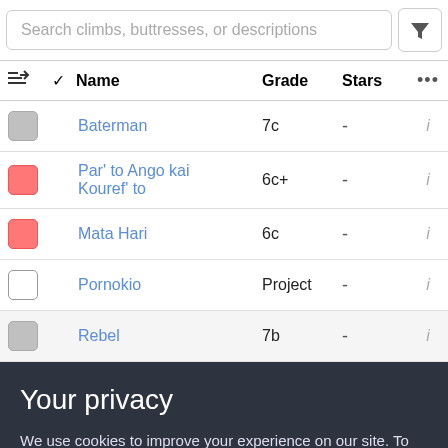Search climbs, buttresses, or descriptions
|  | ✓ | Name | Grade | Stars | ••• |
| --- | --- | --- | --- | --- | --- |
| ☐grey |  | Baterman | 7c | - | i |
| ☐pink |  | Par' to Ango kai Kouref' to | 6c+ | - | i |
| ☐pink |  | Mata Hari | 6c | - | i |
| ☐white |  | Pornokio | Project | - | i |
| ☐grey |  | Rebel | 7b | - | i |
Your privacy
We use cookies to improve your experience on our site. To find out more, read our privacy policy and cookie policy.
✓ OK   More information